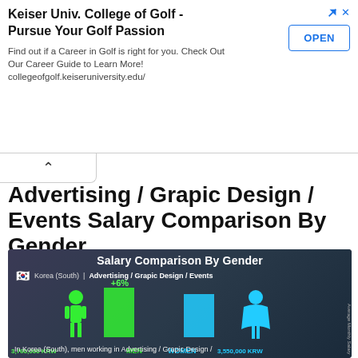[Figure (infographic): Advertisement banner for Keiser Univ. College of Golf with OPEN button]
Keiser Univ. College of Golf - Pursue Your Golf Passion
Find out if a Career in Golf is right for you. Check Out Our Career Guide to Learn More! collegeofgolf.keiseruniversity.edu/
Advertising / Grapic Design / Events Salary Comparison By Gender
[Figure (infographic): Salary Comparison By Gender infographic for Korea (South) - Advertising / Grapic Design / Events. Men: 3,760,000 KRW, Women: 3,550,000 KRW. Men earn 6% more (+6%). Shows green male figure with green bar and cyan female figure with cyan bar. Bottom text: In Korea (South), men working in Advertising / Grapic Design /]